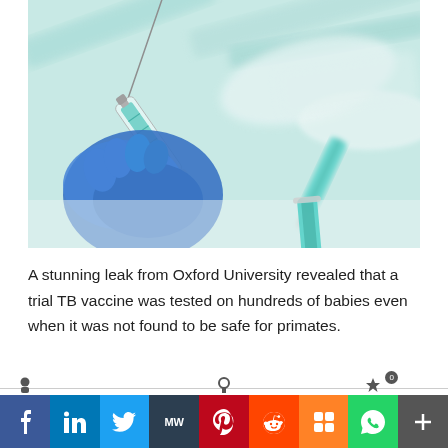[Figure (photo): Close-up photo of medical syringes with teal/green liquid, held by a blue-gloved hand, arranged on a white surface]
A stunning leak from Oxford University revealed that a trial TB vaccine was tested on hundreds of babies even when it was not found to be safe for primates.
[Figure (infographic): Social media share bar with icons for Facebook, LinkedIn, Twitter, MW, Pinterest, Reddit, Mix, WhatsApp, and More (+)]